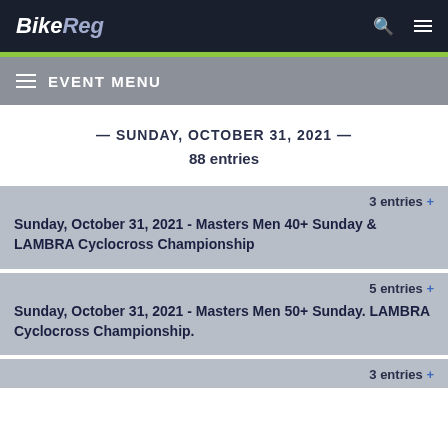BikeReg
EVENT MENU
— SUNDAY, OCTOBER 31, 2021 —
88 entries
3 entries +
Sunday, October 31, 2021 - Masters Men 40+ Sunday & LAMBRA Cyclocross Championship
5 entries +
Sunday, October 31, 2021 - Masters Men 50+ Sunday. LAMBRA Cyclocross Championship.
3 entries +